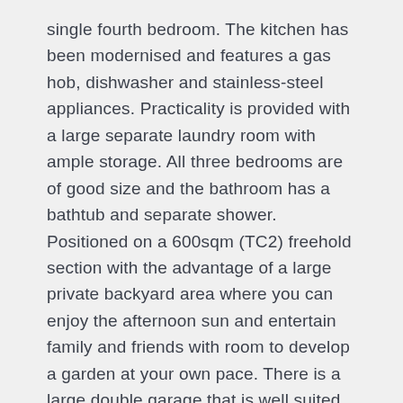single fourth bedroom. The kitchen has been modernised and features a gas hob, dishwasher and stainless-steel appliances. Practicality is provided with a large separate laundry room with ample storage. All three bedrooms are of good size and the bathroom has a bathtub and separate shower. Positioned on a 600sqm (TC2) freehold section with the advantage of a large private backyard area where you can enjoy the afternoon sun and entertain family and friends with room to develop a garden at your own pace. There is a large double garage that is well suited as a workshop, perfect for the keen DIYer's and car enthusiasts. Great off-street parking at the rear of the house allows for additional off-street parking. The location is perfect for walks around Horse Shoe Lake and the Avon River whilst being a short drive away from The Palms Shopping Centre, local Preschool and nursery directly across the road. Public transport is also on your doorstep so you are handy to everything you will need. If you're looking for your first